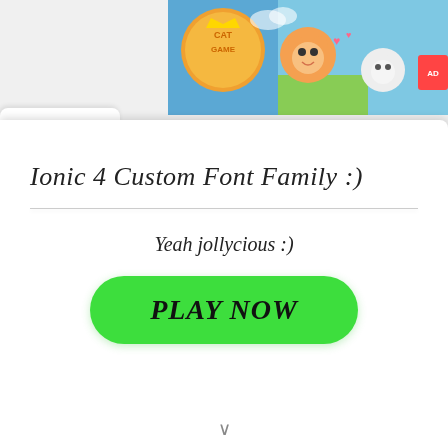[Figure (screenshot): Cat game advertisement banner showing colorful cat characters with a game logo on the right side of the screen]
Ionic 4 Custom Font Family :)
Yeah jollycious :)
[Figure (other): Green pill-shaped PLAY NOW button with italic script text]
PLAY NOW